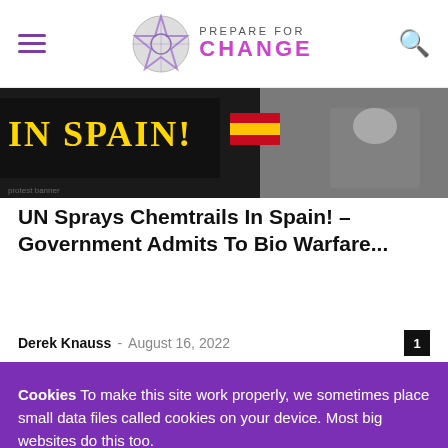Prepare For Change
[Figure (photo): Hero image showing protest banner text 'IN SPAIN!' with Spanish flag and an older man in the background]
UN Sprays Chemtrails In Spain! – Government Admits To Bio Warfare...
Derek Knauss – August 16, 2022 [1 comment]
Cookies To make this site work properly, we sometimes place small data files called cookies on your device. Most big websites do this too.
✓ Accept
Change Settings ⚙